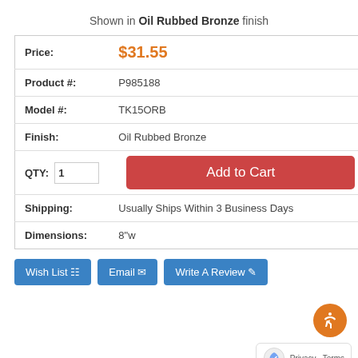Shown in Oil Rubbed Bronze finish
| Price: | $31.55 |
| Product #: | P985188 |
| Model #: | TK15ORB |
| Finish: | Oil Rubbed Bronze |
| QTY: | 1 | Add to Cart |
| Shipping: | Usually Ships Within 3 Business Days |
| Dimensions: | 8"w |
Wish List | Email | Write A Review